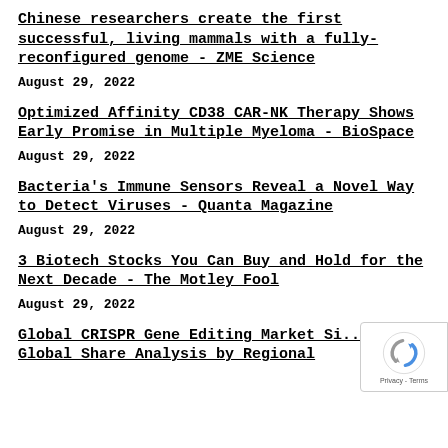Chinese researchers create the first successful, living mammals with a fully-reconfigured genome - ZME Science
August 29, 2022
Optimized Affinity CD38 CAR-NK Therapy Shows Early Promise in Multiple Myeloma - BioSpace
August 29, 2022
Bacteria's Immune Sensors Reveal a Novel Way to Detect Viruses - Quanta Magazine
August 29, 2022
3 Biotech Stocks You Can Buy and Hold for the Next Decade - The Motley Fool
August 29, 2022
Global CRISPR Gene Editing Market Si... 2022 Global Share Analysis by Regional